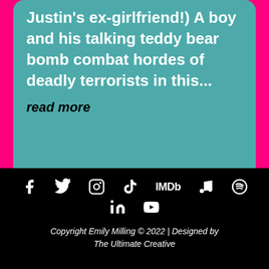Justin's ex-girlfriend!) A boy and his talking teddy bear bomb combat hordes of deadly terrorists in this...
read more
Copyright Emily Milling © 2022 | Designed by The Ultimate Creative